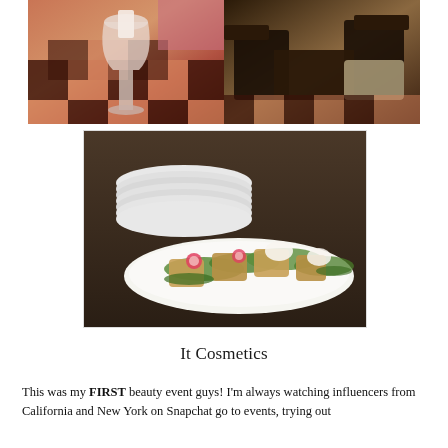[Figure (photo): Two side-by-side restaurant interior photos: left shows a checkered black and pink floor with a wine glass containing a candle; right shows dark chairs and tables with a checkered floor in a restaurant setting]
[Figure (photo): Food photo showing a long white oval platter with pan-seared fish or scallops topped with greens, radishes, and garnishes, next to a stack of white plates on a dark table]
It Cosmetics
This was my FIRST beauty event guys! I'm always watching influencers from California and New York on Snapchat go to events, trying out